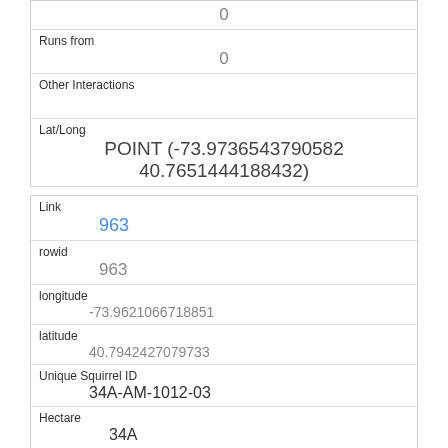|  | 0 |
| Runs from | 0 |
| Other Interactions |  |
| Lat/Long | POINT (-73.9736543790582 40.7651444188432) |
| Link | 963 |
| rowid | 963 |
| longitude | -73.9621066718851 |
| latitude | 40.7942427079733 |
| Unique Squirrel ID | 34A-AM-1012-03 |
| Hectare | 34A |